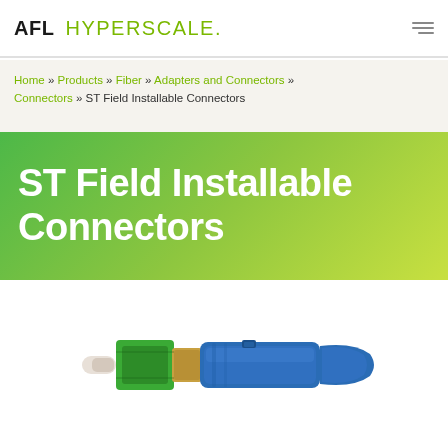AFL HYPERSCALE.
Home » Products » Fiber » Adapters and Connectors » Connectors » ST Field Installable Connectors
ST Field Installable Connectors
[Figure (photo): ST field installable fiber optic connector with green body and blue strain relief boot, shown at an angle on white background]